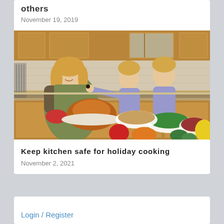others
November 19, 2019
[Figure (photo): A woman wearing a green apron holds a roasted turkey on a platter while a young girl feeds her a bite of food. Another girl stands in the background smiling. The kitchen counter is covered with holiday dishes including green beans, stuffing, cranberries, and various vegetables.]
Keep kitchen safe for holiday cooking
November 2, 2021
Login / Register